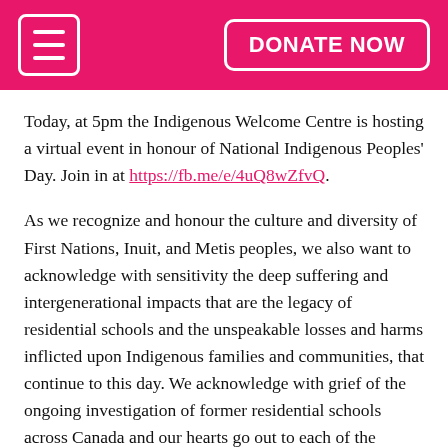DONATE NOW
Today, at 5pm the Indigenous Welcome Centre is hosting a virtual event in honour of National Indigenous Peoples' Day. Join in at https://fb.me/e/4uQ8wZfvQ.
As we recognize and honour the culture and diversity of First Nations, Inuit, and Metis peoples, we also want to acknowledge with sensitivity the deep suffering and intergenerational impacts that are the legacy of residential schools and the unspeakable losses and harms inflicted upon Indigenous families and communities, that continue to this day. We acknowledge with grief of the ongoing investigation of former residential schools across Canada and our hearts go out to each of the families and Indigenous communities continually affected by this news.
For tips on talking to children about residential schools, visit https://www.youtube.com/watch?v=ebOJ_lMCVvk